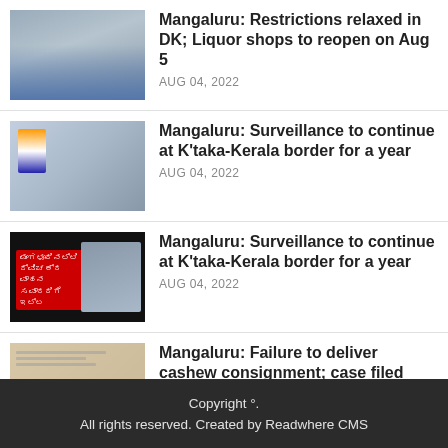[Figure (photo): Photo of a man wearing a white face mask at a press conference]
Mangaluru: Restrictions relaxed in DK; Liquor shops to reopen on Aug 5
AUG 04, 2022
[Figure (photo): Photo of police officers in uniform standing in front of Indian flags]
Mangaluru: Surveillance to continue at K'taka-Kerala border for a year
AUG 04, 2022
[Figure (photo): Video thumbnail with Kannada text and police officer image on dark background]
Mangaluru: Surveillance to continue at K'taka-Kerala border for a year
AUG 04, 2022
[Figure (photo): Image of an FIR (First Information Report) document with large red FIR text]
Mangaluru: Failure to deliver cashew consignment; case filed against transporter
AUG 03, 2022
Copyright °.
All rights reserved. Created by Readwhere CMS